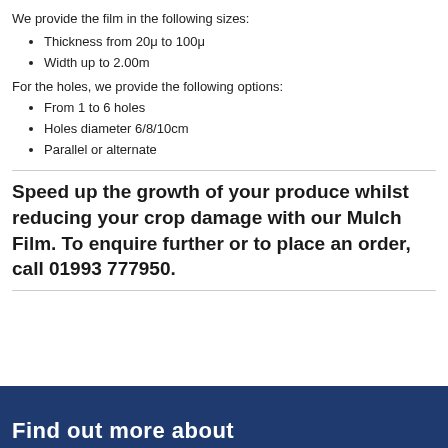We provide the film in the following sizes:
Thickness from 20μ to 100μ
Width up to 2.00m
For the holes, we provide the following options:
From 1 to 6 holes
Holes diameter 6/8/10cm
Parallel or alternate
Speed up the growth of your produce whilst reducing your crop damage with our Mulch Film. To enquire further or to place an order, call 01993 777950.
[Figure (other): Dark blue banner section at the bottom of the page, partially visible, with white bold text beginning to appear]